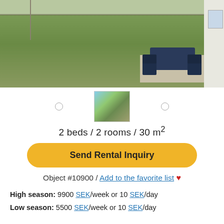[Figure (photo): Outdoor photo of a rental property showing a green lawn, a patio with dark blue/navy plastic table and chairs, and a white building wall on the right side. Background shows a field and fence.]
[Figure (photo): Thumbnail image of the rental property exterior with trees and driveway visible.]
2 beds / 2 rooms / 30 m²
Send Rental Inquiry
Object #10900 / Add to the favorite list ❤
High season: 9900 SEK/week or 10 SEK/day
Low season: 5500 SEK/week or 10 SEK/day